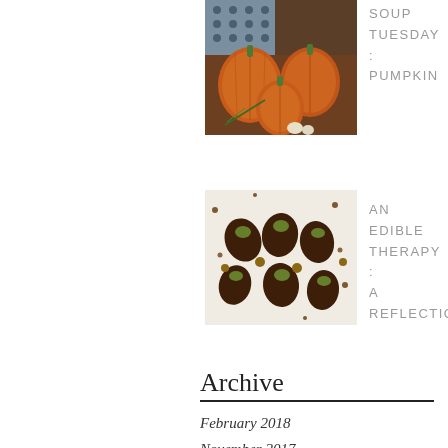[Figure (photo): Photo of pumpkins with rosemary and garlic on a wooden surface with a metal grater background]
SOUP TUESDAY : PUMPKIN
[Figure (photo): Photo of chocolate-dipped strawberries topped with pistachio pieces on parchment paper]
AN EDIBLE THERAPY : A REFLECTION
Archive
February 2018
November 2017
June 2017
March 2017
October 2016
June 2016